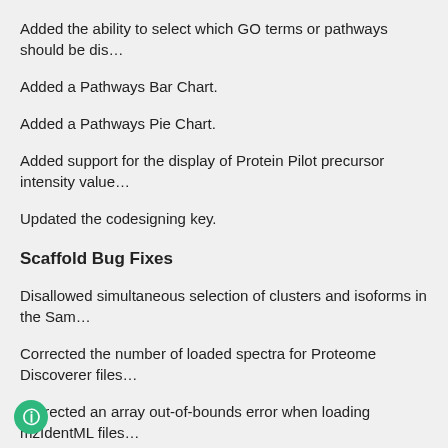Added the ability to select which GO terms or pathways should be dis…
Added a Pathways Bar Chart.
Added a Pathways Pie Chart.
Added support for the display of Protein Pilot precursor intensity value…
Updated the codesigning key.
Scaffold Bug Fixes
Disallowed simultaneous selection of clusters and isoforms in the Sam…
Corrected the number of loaded spectra for Proteome Discoverer files…
Corrected an array out-of-bounds error when loading mzIdentML files…
Ensured that the Scaffold Venn diagram properly respects thresholds…
Corrected reading of precursor intensity values from Proteome Disco…
Removed peptide probabilities from the Similarity View when data is l…